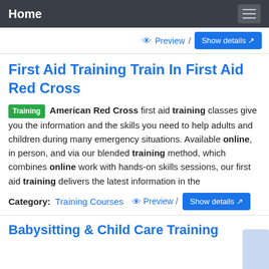Home
Preview / Show details
First Aid Training Train In First Aid Red Cross
Training American Red Cross first aid training classes give you the information and the skills you need to help adults and children during many emergency situations. Available online, in person, and via our blended training method, which combines online work with hands-on skills sessions, our first aid training delivers the latest information in the
Category: Training Courses   Preview /  Show details
Babysitting & Child Care Training